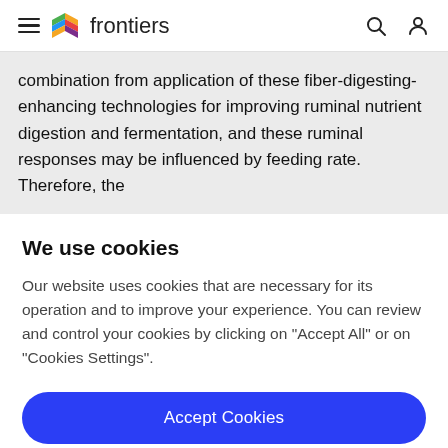frontiers
combination from application of these fiber-digesting-enhancing technologies for improving ruminal nutrient digestion and fermentation, and these ruminal responses may be influenced by feeding rate. Therefore, the
We use cookies
Our website uses cookies that are necessary for its operation and to improve your experience. You can review and control your cookies by clicking on "Accept All" or on "Cookies Settings".
Accept Cookies
Cookies Settings